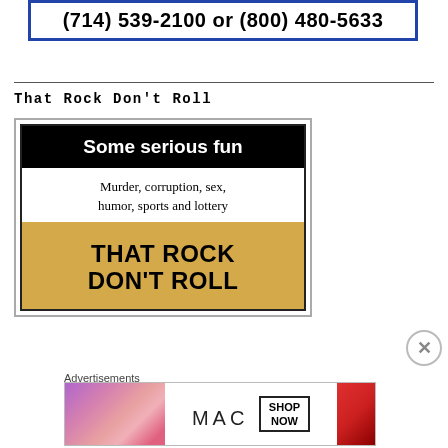[Figure (other): Advertisement box with blue border showing phone numbers: (714) 539-2100 or (800) 480-5633]
That Rock Don't Roll
[Figure (illustration): Book advertisement image showing 'Some serious fun' in white text on black bar, subtitle 'Murder, corruption, sex, humor, sports and lottery', and 'THAT ROCK DON'T ROLL' text on yellow/gold background with a dark image at the bottom]
Advertisements
[Figure (illustration): MAC cosmetics advertisement showing lipsticks on left and right sides, MAC logo in center, and a 'SHOP NOW' box]